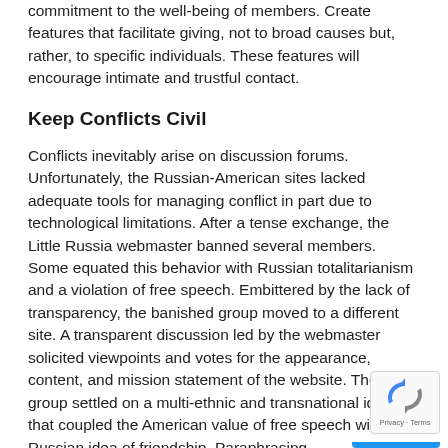commitment to the well-being of members. Create features that facilitate giving, not to broad causes but, rather, to specific individuals. These features will encourage intimate and trustful contact.
Keep Conflicts Civil
Conflicts inevitably arise on discussion forums. Unfortunately, the Russian-American sites lacked adequate tools for managing conflict in part due to technological limitations. After a tense exchange, the Little Russia webmaster banned several members. Some equated this behavior with Russian totalitarianism and a violation of free speech. Embittered by the lack of transparency, the banished group moved to a different site. A transparent discussion led by the webmaster solicited viewpoints and votes for the appearance, content, and mission statement of the website. The group settled on a multi-ethnic and transnational identity that coupled the American value of free speech with a Russian idea of friendship. Paraphrasing